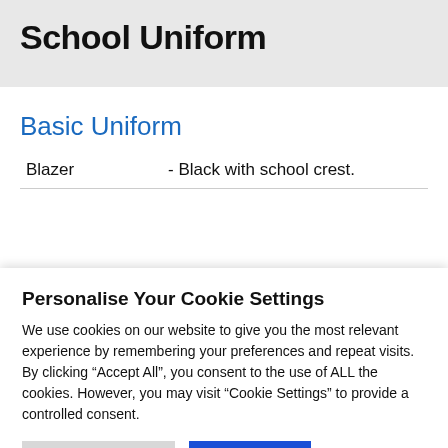School Uniform
Basic Uniform
| Item | Description |
| --- | --- |
| Blazer | - Black with school crest. |
Personalise Your Cookie Settings
We use cookies on our website to give you the most relevant experience by remembering your preferences and repeat visits. By clicking “Accept All”, you consent to the use of ALL the cookies. However, you may visit “Cookie Settings” to provide a controlled consent.
Cookie Settings | Accept All